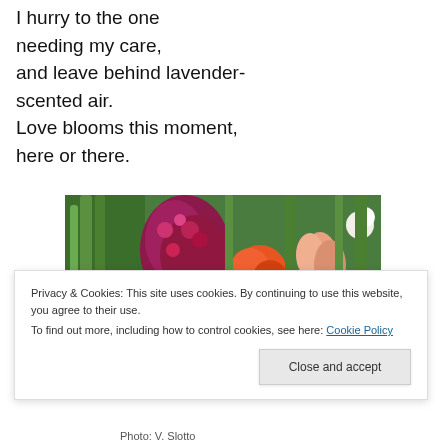I hurry to the one
needing my care,
and leave behind lavender-
scented air.
Love blooms this moment,
here or there.
[Figure (photo): Colorful garden flowers including red, orange, and pink blooms with green foliage in bright sunlight]
Privacy & Cookies: This site uses cookies. By continuing to use this website, you agree to their use.
To find out more, including how to control cookies, see here: Cookie Policy
Photo: V. Slotto